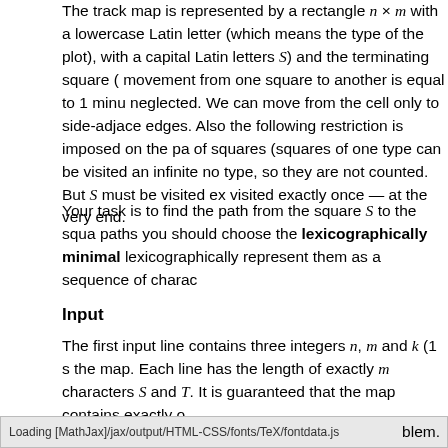The track map is represented by a rectangle n × m with a lowercase Latin letter (which means the type of the plot), with a capital Latin letters S) and the terminating square ( movement from one square to another is equal to 1 minu neglected. We can move from the cell only to side-adjace edges. Also the following restriction is imposed on the pa of squares (squares of one type can be visited an infinite no type, so they are not counted. But S must be visited ex visited exactly once — at the very end.
Your task is to find the path from the square S to the squa paths you should choose the lexicographically minimal lexicographically represent them as a sequence of charac
Input
The first input line contains three integers n, m and k (1 s the map. Each line has the length of exactly m characters S and T. It is guaranteed that the map contains exactly o
Loading [MathJax]/jax/output/HTML-CSS/fonts/TeX/fontdata.js